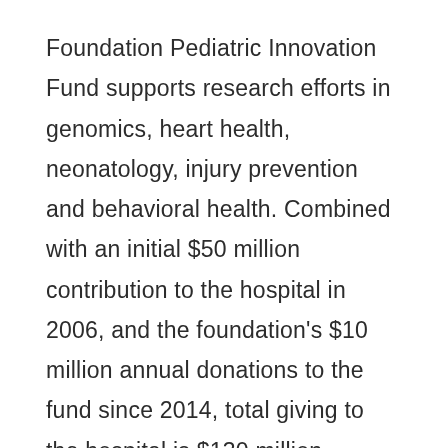Foundation Pediatric Innovation Fund supports research efforts in genomics, heart health, neonatology, injury prevention and behavioral health. Combined with an initial $50 million contribution to the hospital in 2006, and the foundation's $10 million annual donations to the fund since 2014, total giving to the hospital is $130 million.
With support from the Pediatric Innovation Fund, Nationwide Children's Hospital has undergone significant expansions in its research and clinical programs since 2014.